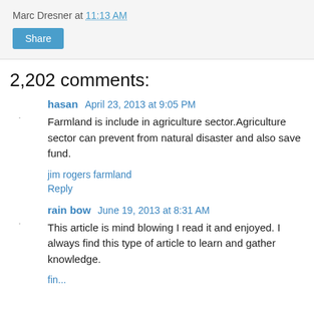Marc Dresner at 11:13 AM
Share
2,202 comments:
hasan April 23, 2013 at 9:05 PM
Farmland is include in agriculture sector.Agriculture sector can prevent from natural disaster and also save fund.
jim rogers farmland
Reply
rain bow June 19, 2013 at 8:31 AM
This article is mind blowing I read it and enjoyed. I always find this type of article to learn and gather knowledge.